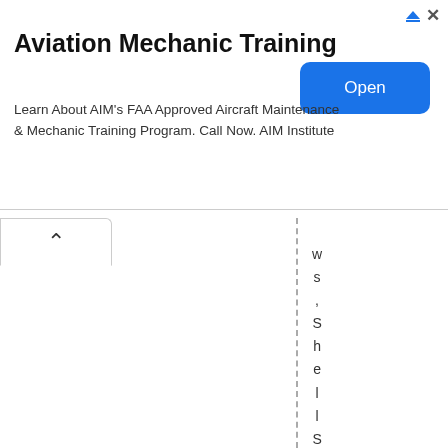[Figure (other): Advertisement banner for Aviation Mechanic Training with title, body text, and Open button]
ws, ShellStationRobb